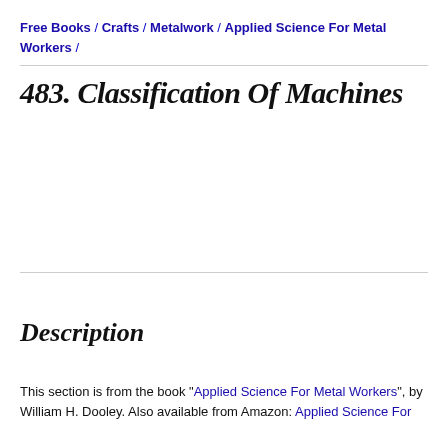Free Books / Crafts / Metalwork / Applied Science For Metal Workers /
483. Classification Of Machines
Description
This section is from the book "Applied Science For Metal Workers", by William H. Dooley. Also available from Amazon: Applied Science For